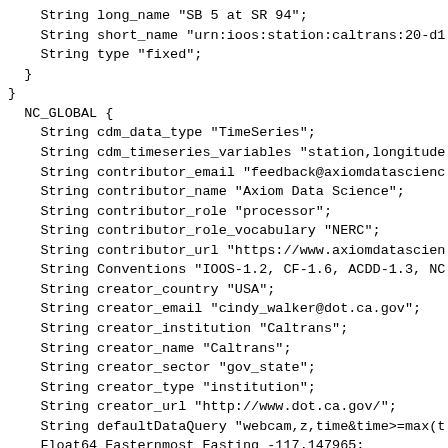String long_name "SB 5 at SR 94";
    String short_name "urn:ioos:station:caltrans:20-d1
    String type "fixed";
  }
}
  NC_GLOBAL {
    String cdm_data_type "TimeSeries";
    String cdm_timeseries_variables "station,longitude
    String contributor_email "feedback@axiomdatasienc
    String contributor_name "Axiom Data Science";
    String contributor_role "processor";
    String contributor_role_vocabulary "NERC";
    String contributor_url "https://www.axiomdatascie
    String Conventions "IOOS-1.2, CF-1.6, ACDD-1.3, NC
    String creator_country "USA";
    String creator_email "cindy_walker@dot.ca.gov";
    String creator_institution "Caltrans";
    String creator_name "Caltrans";
    String creator_sector "gov_state";
    String creator_type "institution";
    String creator_url "http://www.dot.ca.gov/";
    String defaultDataQuery "webcam,z,time&time>=max(t
    Float64 Easternmost_Easting -117.147965;
    String featureType "TimeSeries";
    Float64 geospatial_lat_max 32.713825;
    Float64 geospatial_lat_min 32.713825;